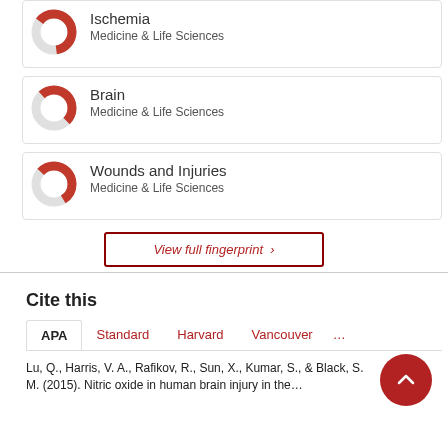[Figure (donut-chart): Donut chart for Ischemia, approximately 65% filled red]
Ischemia
Medicine & Life Sciences
[Figure (donut-chart): Donut chart for Brain, approximately 50% filled red]
Brain
Medicine & Life Sciences
[Figure (donut-chart): Donut chart for Wounds and Injuries, approximately 55% filled red]
Wounds and Injuries
Medicine & Life Sciences
View full fingerprint ›
Cite this
APA  Standard  Harvard  Vancouver  …
Lu, Q., Harris, V. A., Rafikov, R., Sun, X., Kumar, S., & Black, S. M. (2015). Nitric oxide in human brain injury in the…